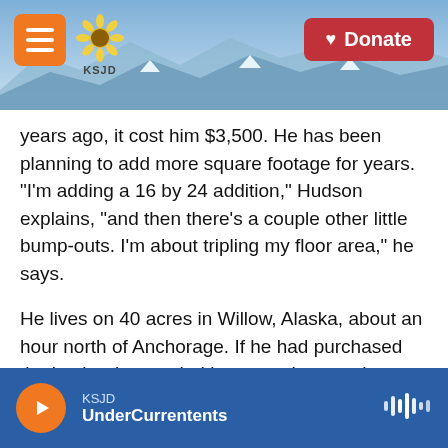KSJD — Donate
years ago, it cost him $3,500. He has been planning to add more square footage for years. "I'm adding a 16 by 24 addition," Hudson explains, "and then there's a couple other little bump-outs. I'm about tripling my floor area," he says.
He lives on 40 acres in Willow, Alaska, about an hour north of Anchorage. If he had purchased the lumber he needed last year, he says he might have paid just over $6 a board. This year, basic framing timbers cost at least $15. Depending on the type of wood and whether it's pressure-treated, that price can climb above $64 per board.
KSJD UnderCurrents